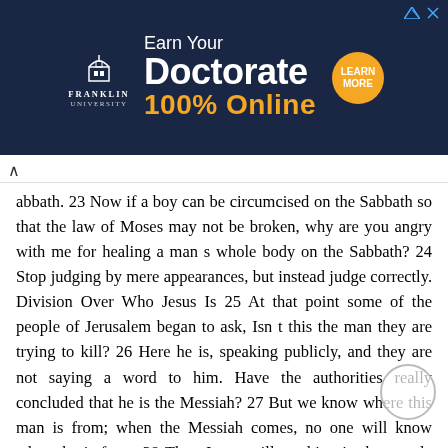[Figure (other): Franklin University advertisement banner: 'Earn Your Doctorate 100% Online' with Learn More button in orange circle on dark navy background]
abbath. 23 Now if a boy can be circumcised on the Sabbath so that the law of Moses may not be broken, why are you angry with me for healing a man s whole body on the Sabbath? 24 Stop judging by mere appearances, but instead judge correctly. Division Over Who Jesus Is 25 At that point some of the people of Jerusalem began to ask, Isn t this the man they are trying to kill? 26 Here he is, speaking publicly, and they are not saying a word to him. Have the authorities really concluded that he is the Messiah? 27 But we know where this man is from; when the Messiah comes, no one will know where he is from. 28 Then Jesus, still teaching in the temple courts, cried out, Yes, you know me, and you know where I am from. I am not here on my own authority, but he who sent me is true. You do not know him, 29 but I know him because I am from him and he sent me. 30 At this they tried to seize him, but no one laid a hand on him, because his hour had not yet come. 31 Still, many in the crowd believed in him. They said,